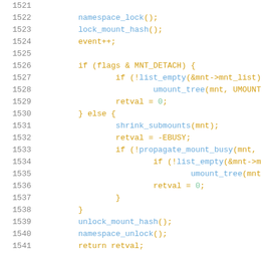[Figure (screenshot): Source code listing (C/kernel code) showing lines 1521-1541 with syntax highlighting. Line numbers in gray on left, code in yellow/blue on right.]